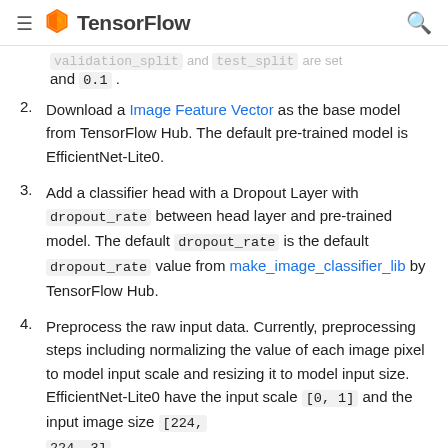TensorFlow
and 0.1 .
Download a Image Feature Vector as the base model from TensorFlow Hub. The default pre-trained model is EfficientNet-Lite0.
Add a classifier head with a Dropout Layer with dropout_rate between head layer and pre-trained model. The default dropout_rate is the default dropout_rate value from make_image_classifier_lib by TensorFlow Hub.
Preprocess the raw input data. Currently, preprocessing steps including normalizing the value of each image pixel to model input scale and resizing it to model input size. EfficientNet-Lite0 have the input scale [0, 1] and the input image size [224, 224, 3] .